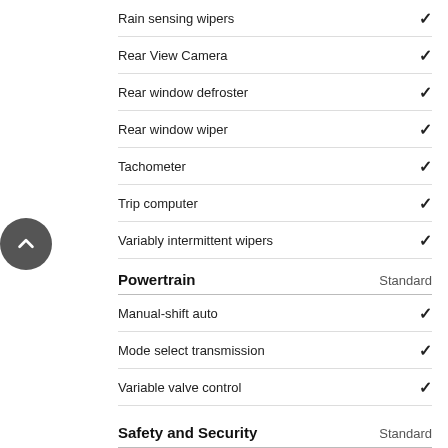Rain sensing wipers ✓
Rear View Camera ✓
Rear window defroster ✓
Rear window wiper ✓
Tachometer ✓
Trip computer ✓
Variably intermittent wipers ✓
Powertrain   Standard
Manual-shift auto ✓
Mode select transmission ✓
Variable valve control ✓
Safety and Security   Standard
4 wheel disc brakes ✓
ABS brakes ✓
Brake assist ✓
Dual front side airbags